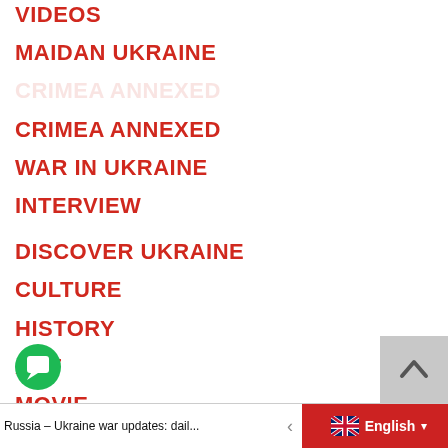VIDEOS
MAIDAN UKRAINE
CRIMEA ANNEXED
WAR IN UKRAINE
INTERVIEW
DISCOVER UKRAINE
CULTURE
HISTORY
ART
MOVIE
MUSIC
VISIT UKRAINE
Russia – Ukraine war updates: dail... | English ▾ | r updates: dail...